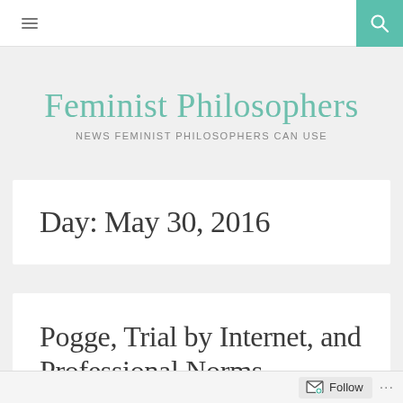≡ [navigation] [search]
Feminist Philosophers
NEWS FEMINIST PHILOSOPHERS CAN USE
Day: May 30, 2016
Pogge, Trial by Internet, and Professional Norms
Follow ...